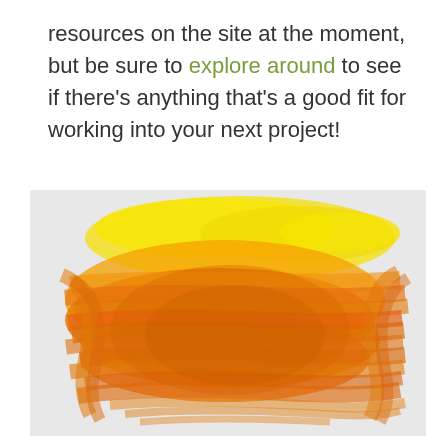resources on the site at the moment, but be sure to explore around to see if there's anything that's a good fit for working into your next project!
[Figure (illustration): Abstract painting with overlapping orange and yellow brushstrokes on a light gray background, creating a layered textured effect.]